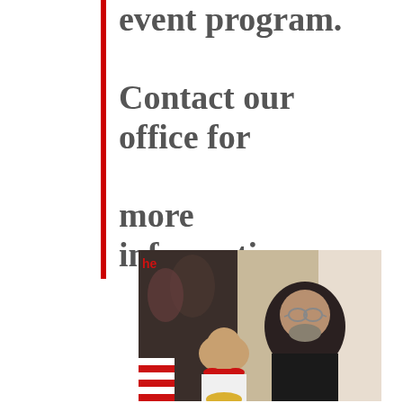event program. Contact our office for more information.
[Figure (photo): Two people posing together at an event: a young boy wearing a bow tie and a middle-aged man with glasses and a beard in a dark suit.]